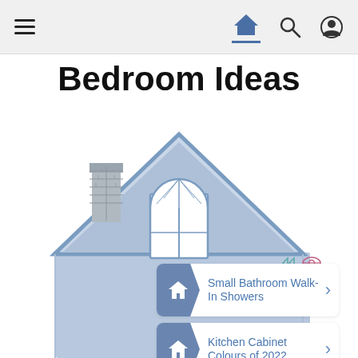Navigation bar with menu, home, search, and profile icons
Bedroom Ideas
[Figure (illustration): House illustration in light blue with a chimney on the left, a peaked roof, and an arched window in the gable. Inside the house body are two white clickable cards: 'Small Bathroom Walk-In Showers' and 'Kitchen Cabinet Colours of 2022', each with a dark blue house icon on the left and a chevron arrow on the right. Small ad icons appear in the upper right of the house body.]
Small Bathroom Walk-In Showers
Kitchen Cabinet Colours of 2022